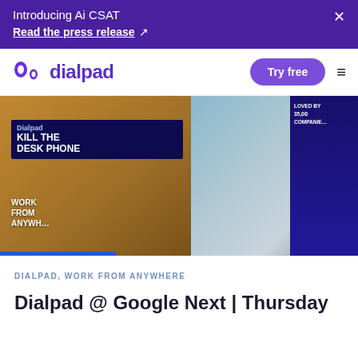Introducing Ai CSAT
Read the press release ↗
[Figure (logo): Dialpad logo with purple icon and wordmark]
Try free
[Figure (photo): Dialpad trade show booth at Google Next showing 'Kill The Desk Phone' and 'Work From Anywhere' signage, with attendees in the foreground]
DIALPAD, WORK FROM ANYWHERE
Dialpad @ Google Next | Thursday